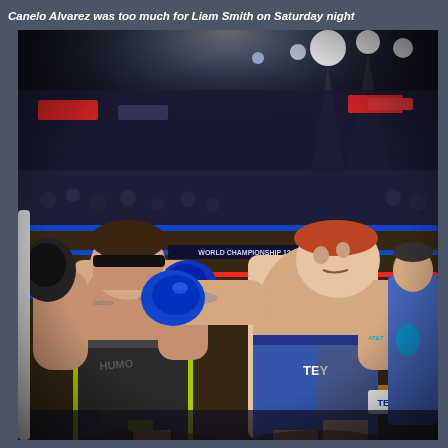Canelo Alvarez was too much for Liam Smith on Saturday night
[Figure (photo): Boxing match action photograph showing Canelo Alvarez (right, in blue trunks and blue gloves) throwing a punch at Liam Smith (left, in dark green/black trunks with yellow trim, black gloves). The fight takes place in a boxing ring with blue ropes and Tecate branding. Arena crowd and bright ring lights are visible in the background. Canelo's trunks feature 'TEY' branding. A referee in a blue shirt is visible in the background right. Ring banners show 'WORLD CHAMPIONSHIP 12 R' and 'GOLDEN BOY' promotions.]